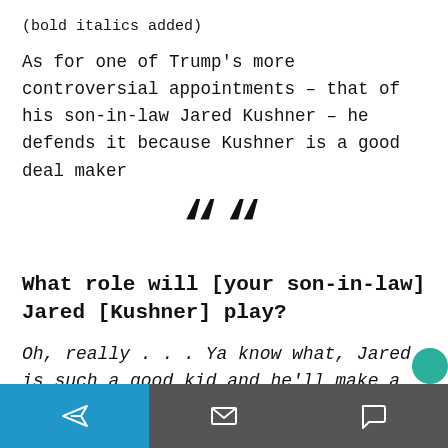(bold italics added)
As for one of Trump’s more controversial appointments – that of his son-in-law Jared Kushner – he defends it because Kushner is a good deal maker
[Figure (other): Large decorative opening quotation mark]
What role will [your son-in-law] Jared [Kushner] play?
Oh, really . . . Ya know what, Jared is such a good kid and he’ll make a
Navigation bar with send, email, and comment icons